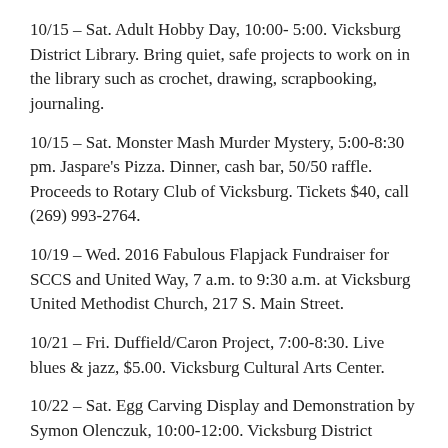10/15 – Sat. Adult Hobby Day, 10:00- 5:00. Vicksburg District Library. Bring quiet, safe projects to work on in the library such as crochet, drawing, scrapbooking, journaling.
10/15 – Sat. Monster Mash Murder Mystery, 5:00-8:30 pm. Jaspare's Pizza. Dinner, cash bar, 50/50 raffle. Proceeds to Rotary Club of Vicksburg. Tickets $40, call (269) 993-2764.
10/19 – Wed. 2016 Fabulous Flapjack Fundraiser for SCCS and United Way, 7 a.m. to 9:30 a.m. at Vicksburg United Methodist Church, 217 S. Main Street.
10/21 – Fri. Duffield/Caron Project, 7:00-8:30. Live blues & jazz, $5.00. Vicksburg Cultural Arts Center.
10/22 – Sat. Egg Carving Display and Demonstration by Symon Olenczuk, 10:00-12:00. Vicksburg District Library.